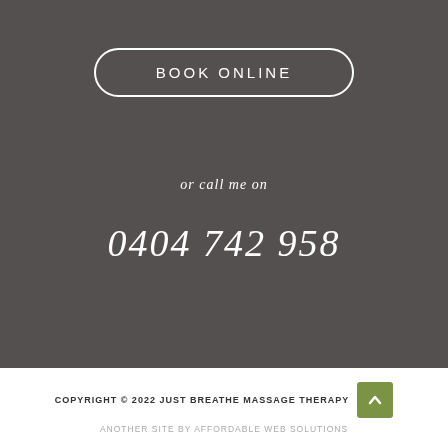BOOK ONLINE
or call me on
0404 742 958
COPYRIGHT © 2022 JUST BREATHE MASSAGE THERAPY
ANOTHER SITE BY AFFORDABLE WEB SOLUTIONS